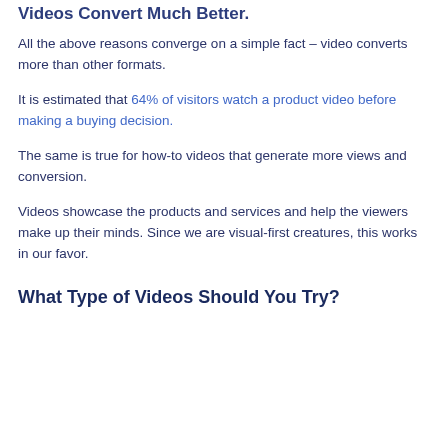Videos Convert Much Better.
All the above reasons converge on a simple fact – video converts more than other formats.
It is estimated that 64% of visitors watch a product video before making a buying decision.
The same is true for how-to videos that generate more views and conversion.
Videos showcase the products and services and help the viewers make up their minds. Since we are visual-first creatures, this works in our favor.
What Type of Videos Should You Try?